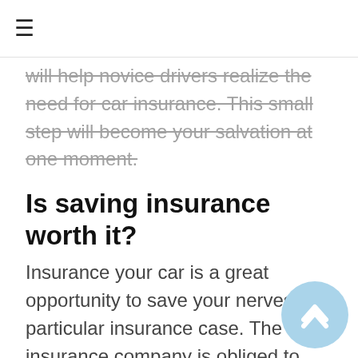≡
will help novice drivers realize the need for car insurance. This small step will become your salvation at one moment.
Is saving insurance worth it?
Insurance your car is a great opportunity to save your nerves in a particular insurance case. The insurance company is obliged to reimburse or as they say, cover your financial obligations to other persons. Is it worth saving on what makes you stronger – you have to decide for yourself.
How long does an insurance company have to pay a claim